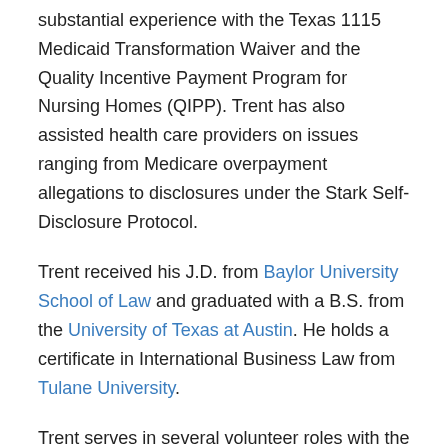substantial experience with the Texas 1115 Medicaid Transformation Waiver and the Quality Incentive Payment Program for Nursing Homes (QIPP). Trent has also assisted health care providers on issues ranging from Medicare overpayment allegations to disclosures under the Stark Self-Disclosure Protocol.
Trent received his J.D. from Baylor University School of Law and graduated with a B.S. from the University of Texas at Austin. He holds a certificate in International Business Law from Tulane University.
Trent serves in several volunteer roles with the Austin Bar Association and the American Health Lawyers Association. He also coaches youth sports.
Professional and Community Activities
...